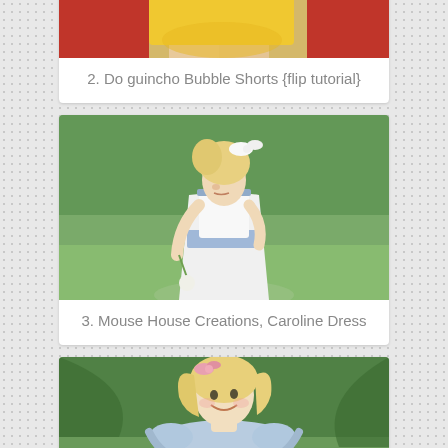[Figure (photo): Partial view of a child in yellow bubble shorts near a red post, cropped at the top]
2. Do guincho Bubble Shorts {flip tutorial}
[Figure (photo): A young blonde girl in a white smocked dress with blue accents, wearing a white hair bow, looking down while holding a flower, outdoors]
3. Mouse House Creations, Caroline Dress
[Figure (photo): A young blonde girl with a pink hair bow, smiling and wearing a light blue floral dress with ruffle sleeves, outdoors]